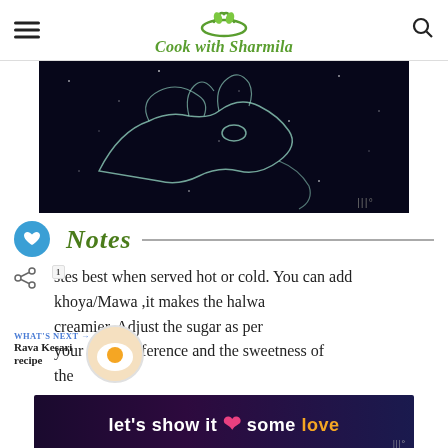Cook with Sharmila
[Figure (other): Dark space-themed illustration showing a hand or creature outline in white glowing lines against a dark starry background, with a watermark logo in the bottom right]
Notes
tastes best when served hot or cold. You can add khoya/Mawa ,it makes the halwa creamier. Adjust the sugar as per your taste preference and the sweetness of the
[Figure (other): Small circular thumbnail image showing a fried egg, labeled WHAT'S NEXT with text Rava Kesari recipe]
[Figure (other): Advertisement banner reading let's show it some love with a pink heart, on a dark purple gradient background]